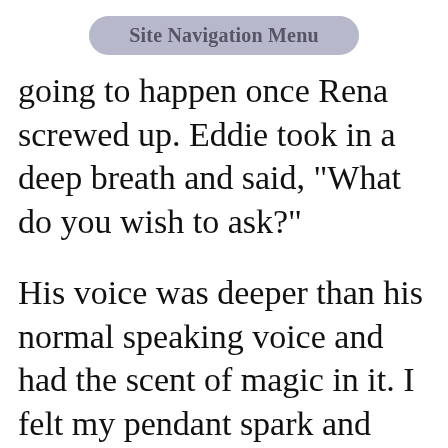Site Navigation Menu
going to happen once Rena screwed up. Eddie took in a deep breath and said, "What do you wish to ask?"
His voice was deeper than his normal speaking voice and had the scent of magic in it. I felt my pendant spark and react to the air laden with raw magical